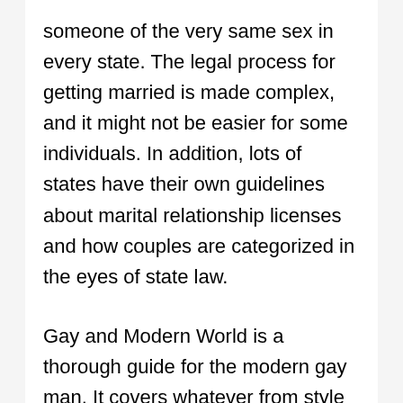someone of the very same sex in every state. The legal process for getting married is made complex, and it might not be easier for some individuals. In addition, lots of states have their own guidelines about marital relationship licenses and how couples are categorized in the eyes of state law.
Gay and Modern World is a thorough guide for the modern gay man. It covers whatever from style to sex, from dating to social networks, from coming out to being out. It is a book that will teach you about